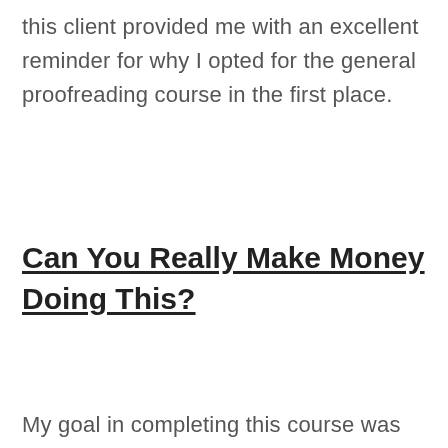this client provided me with an excellent reminder for why I opted for the general proofreading course in the first place.
Can You Really Make Money Doing This?
My goal in completing this course was